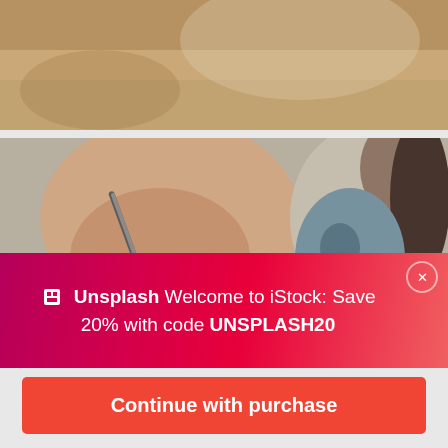[Figure (photo): Top partial photo showing a wooden table surface with blurred background]
[Figure (photo): Photo of a person's hand holding a pen, writing on paper, with another person visible in the background]
Welcome to iStock: Save 20% with code UNSPLASH20
$33 | 3 credits
Continue with purchase